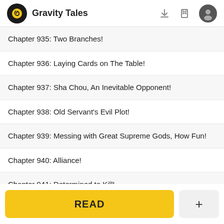Gravity Tales
Chapter 935: Two Branches!
Chapter 936: Laying Cards on The Table!
Chapter 937: Sha Chou, An Inevitable Opponent!
Chapter 938: Old Servant's Evil Plot!
Chapter 939: Messing with Great Supreme Gods, How Fun!
Chapter 940: Alliance!
Chapter 941: Determined to Kill!
Chapter 942: Kill Lin Feng!
READ
+